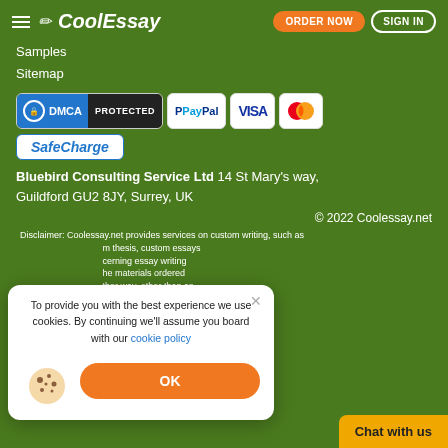CoolEssay — ORDER NOW | SIGN IN
Samples
Sitemap
[Figure (logo): DMCA PROTECTED badge, PayPal badge, VISA badge, Mastercard badge]
[Figure (logo): SafeCharge badge]
Bluebird Consulting Service Ltd 14 St Mary's way, Guildford GU2 8JY, Surrey, UK
© 2022 Coolessay.net
Disclaimer: Coolessay.net provides services on custom writing, such as m thesis, custom essays cerning essay writing he materials ordered ther way, other than as erence is mandatory to served.
To provide you with the best experience we use cookies. By continuing we'll assume you board with our cookie policy
OK
Chat with us